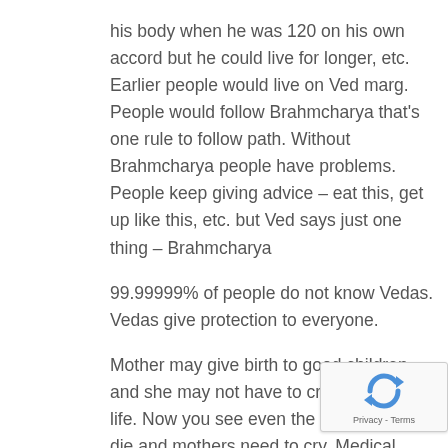his body when he was 120 on his own accord but he could live for longer, etc. Earlier people would live on Ved marg. People would follow Brahmcharya that's one rule to follow path. Without Brahmcharya people have problems. People keep giving advice – eat this, get up like this, etc. but Ved says just one thing – Brahmcharya
99.99999% of people do not know Vedas. Vedas give protection to everyone.
Mother may give birth to good children and she may not have to cry ever in her life. Now you see even the small children die and mothers need to cry. Medical authorities may keep searching the reason but Vedas say something else. These are wonderful blessings in Vedas.
If we follow the right path then these are blessings by God that child will live for 100 years and without any diseases. Perform Yaiven, work hard and stay
[Figure (other): reCAPTCHA widget showing a recycling-arrows logo icon and 'Privacy - Terms' text label]